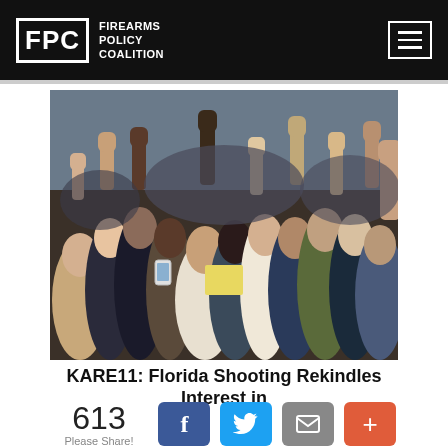FPC FIREARMS POLICY COALITION
[Figure (photo): Large crowd of young protesters with fists raised in the air at an outdoor demonstration]
KARE11: Florida Shooting Rekindles Interest in
613 Please Share!
[Figure (infographic): Social share buttons: Facebook (f), Twitter (bird), Email (envelope), More (+)]